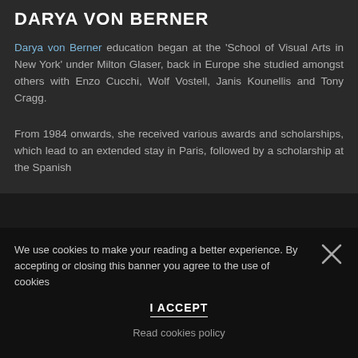DARYA VON BERNER
Darya von Berner education began at the ‘School of Visual Arts in New York’ under Milton Glaser, back in Europe she studied amongst others with Enzo Cucchi, Wolf Vostell, Janis Kounellis and Tony Cragg.
From 1984 onwards, she received various awards and scholarships, which lead to an extended stay in Paris, followed by a scholarship at the Spanish
We use cookies to make your reading a better experience. By accepting or closing this banner you agree to the use of cookies
I ACCEPT
Read cookies policy